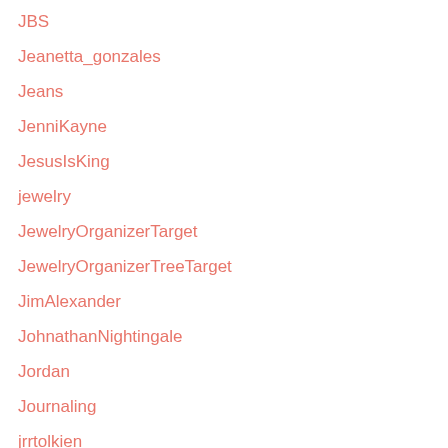JBS
Jeanetta_gonzales
Jeans
JenniKayne
JesusIsKing
jewelry
JewelryOrganizerTarget
JewelryOrganizerTreeTarget
JimAlexander
JohnathanNightingale
Jordan
Journaling
jrrtolkien
Judges
K